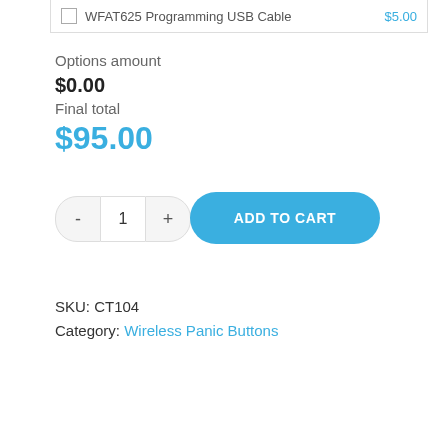WFAT625 Programming USB Cable  $5.00
Options amount
$0.00
Final total
$95.00
- 1 + ADD TO CART
SKU: CT104
Category: Wireless Panic Buttons